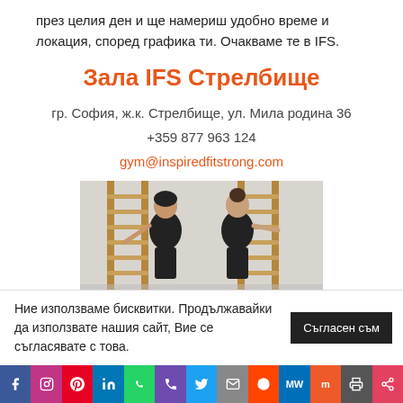през целия ден и ще намериш удобно време и локация, според графика ти. Очакваме те в IFS.
Зала IFS Стрелбище
гр. София, ж.к. Стрелбище, ул. Мила родина 36
+359 877 963 124
gym@inspiredfitstrong.com
[Figure (photo): Two women exercising at gymnastic wall bars in a gym]
Ние използваме бисквитки. Продължавайки да използвате нашия сайт, Вие се съгласявате с това.  Съгласен съм
Social media share bar: Facebook, Instagram, Pinterest, LinkedIn, WhatsApp, Phone, Twitter, Email, Reddit, MW, Mix, Print, Share